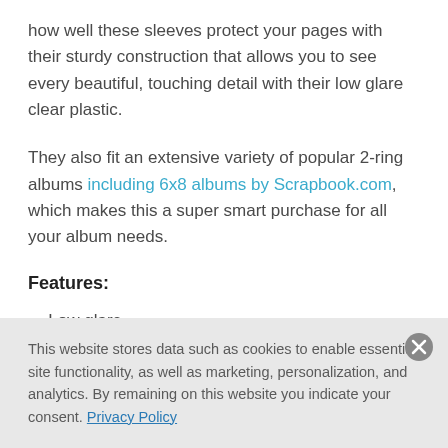how well these sleeves protect your pages with their sturdy construction that allows you to see every beautiful, touching detail with their low glare clear plastic.
They also fit an extensive variety of popular 2-ring albums including 6x8 albums by Scrapbook.com, which makes this a super smart purchase for all your album needs.
Features:
Low glare
This website stores data such as cookies to enable essential site functionality, as well as marketing, personalization, and analytics. By remaining on this website you indicate your consent. Privacy Policy